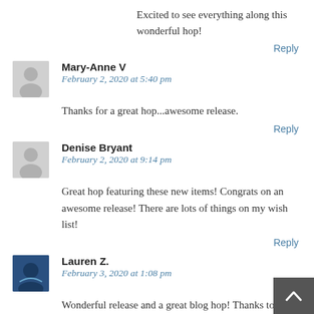Excited to see everything along this wonderful hop!
Reply
Mary-Anne V
February 2, 2020 at 5:40 pm
Thanks for a great hop...awesome release.
Reply
Denise Bryant
February 2, 2020 at 9:14 pm
Great hop featuring these new items! Congrats on an awesome release! There are lots of things on my wish list!
Reply
Lauren Z.
February 3, 2020 at 1:08 pm
Wonderful release and a great blog hop! Thanks to all the talented design team members for